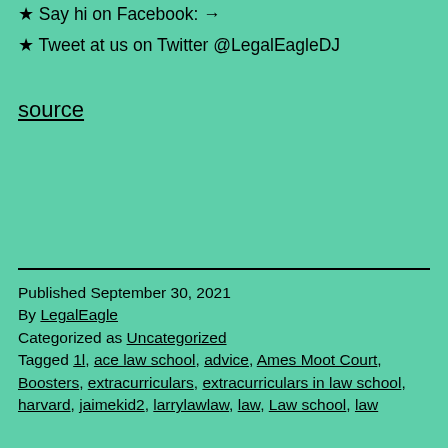★ Say hi on Facebook: →
★ Tweet at us on Twitter @LegalEagleDJ
source
Published September 30, 2021
By LegalEagle
Categorized as Uncategorized
Tagged 1l, ace law school, advice, Ames Moot Court, Boosters, extracurriculars, extracurriculars in law school, harvard, jaimekid2, larrylawlaw, law, Law school, law